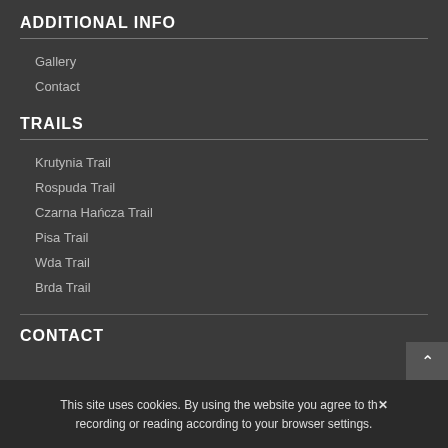ADDITIONAL INFO
Gallery
Contact
TRAILS
Krutynia Trail
Rospuda Trail
Czarna Hańcza Trail
Pisa Trail
Wda Trail
Brda Trail
CONTACT
This site uses cookies. By using the website you agree to their recording or reading according to your browser settings.